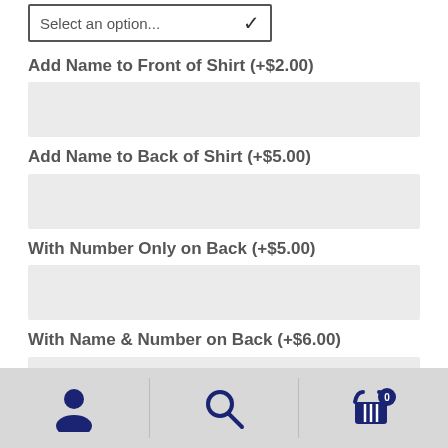[Figure (screenshot): Dropdown select input with placeholder 'Select an option...']
Add Name to Front of Shirt (+$2.00)
[Figure (screenshot): Empty text input box for front of shirt name]
Add Name to Back of Shirt (+$5.00)
[Figure (screenshot): Empty text input box for back of shirt name]
With Number Only on Back (+$5.00)
[Figure (screenshot): Empty text input box for number on back]
With Name & Number on Back (+$6.00)
[Figure (screenshot): Partially visible empty text input box for name and number on back]
[Figure (screenshot): Bottom navigation bar with user icon, search icon, and shopping cart icon with badge 0]